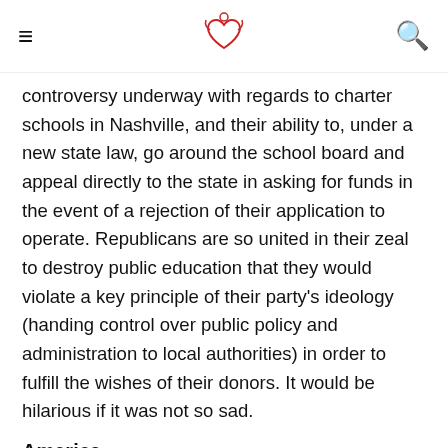[hamburger menu] [logo] [search icon]
controversy underway with regards to charter schools in Nashville, and their ability to, under a new state law, go around the school board and appeal directly to the state in asking for funds in the event of a rejection of their application to operate. Republicans are so united in their zeal to destroy public education that they would violate a key principle of their party's ideology (handing control over public policy and administration to local authorities) in order to fulfill the wishes of their donors. It would be hilarious if it was not so sad.
America.
Polls show a broadening racial divide in America. This report has been brought to by Duh Magazine